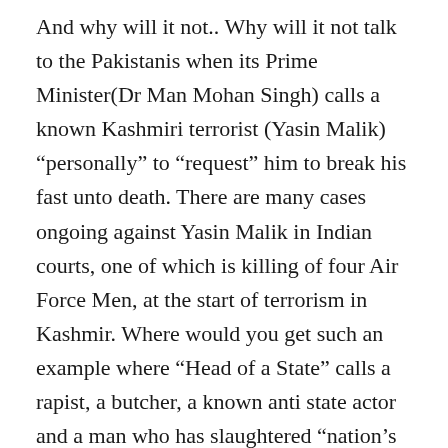And why will it not.. Why will it not talk to the Pakistanis when its Prime Minister(Dr Man Mohan Singh) calls a known Kashmiri terrorist (Yasin Malik) “personally” to “request” him to break his fast unto death. There are many cases ongoing against Yasin Malik in Indian courts, one of which is killing of four Air Force Men, at the start of terrorism in Kashmir. Where would you get such an example where “Head of a State” calls a rapist, a butcher, a known anti state actor and a man who has slaughtered “nation’s men in uniform”, personally… This is what